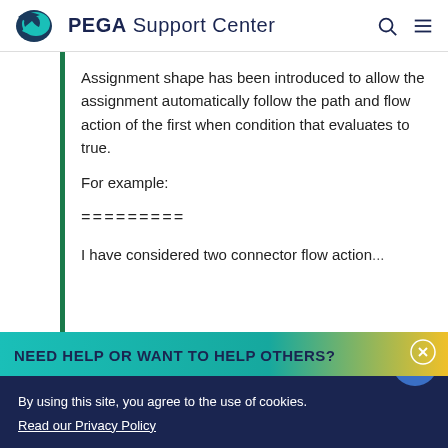PEGA Support Center
Assignment shape has been introduced to allow the assignment automatically follow the path and flow action of the first when condition that evaluates to true.

For example:

=========

I have considered two connector flow action...
NEED HELP OR WANT TO HELP OTHERS?
By using this site, you agree to the use of cookies.
Read our Privacy Policy
Accept and continue   About cookies